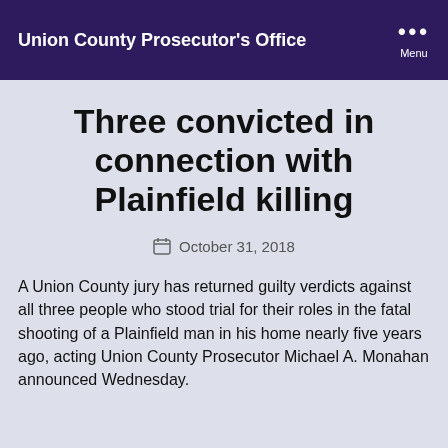Union County Prosecutor's Office
Three convicted in connection with Plainfield killing
October 31, 2018
A Union County jury has returned guilty verdicts against all three people who stood trial for their roles in the fatal shooting of a Plainfield man in his home nearly five years ago, acting Union County Prosecutor Michael A. Monahan announced Wednesday.